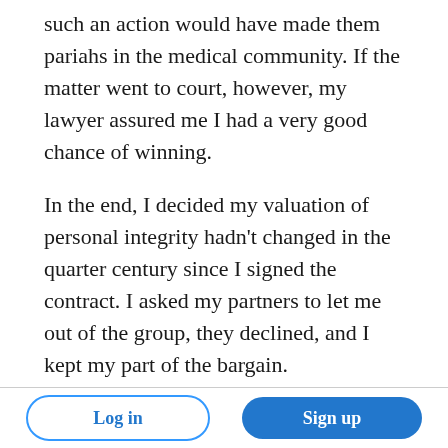such an action would have made them pariahs in the medical community. If the matter went to court, however, my lawyer assured me I had a very good chance of winning.
In the end, I decided my valuation of personal integrity hadn't changed in the quarter century since I signed the contract. I asked my partners to let me out of the group, they declined, and I kept my part of the bargain.
I was rewarded with my best year, ever.
Log in   Sign up